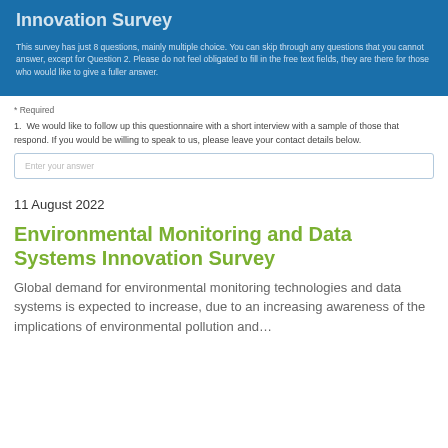Innovation Survey
This survey has just 8 questions, mainly multiple choice. You can skip through any questions that you cannot answer, except for Question 2. Please do not feel obligated to fill in the free text fields, they are there for those who would like to give a fuller answer.
* Required
1. We would like to follow up this questionnaire with a short interview with a sample of those that respond. If you would be willing to speak to us, please leave your contact details below.
Enter your answer
11 August 2022
Environmental Monitoring and Data Systems Innovation Survey
Global demand for environmental monitoring technologies and data systems is expected to increase, due to an increasing awareness of the implications of environmental pollution and…